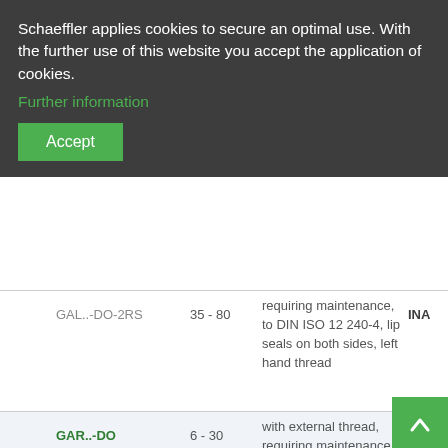Schaeffler applies cookies to secure an optimal use. With the further use of this website you accept the application of cookies.
Further information
Accept
|  | Design | d (mm) | Description | Brand |
| --- | --- | --- | --- | --- |
|  | GAL..-DO-2RS | 35 - 80 | requiring maintenance, to DIN ISO 12 240-4, lip seals on both sides, left hand thread | INA |
|  | GAR..-DO | 6 - 30 | with external thread, requiring maintenance, to DIN ISO 12 240-4, right hand thread | INA |